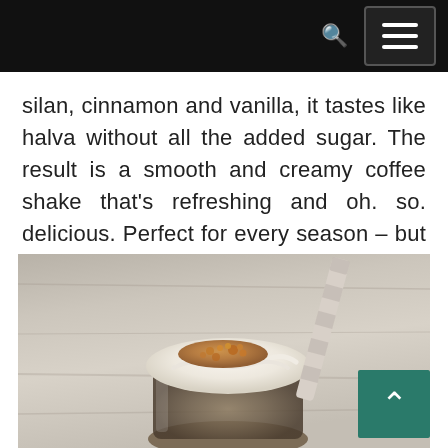silan, cinnamon and vanilla, it tastes like halva without all the added sugar. The result is a smooth and creamy coffee shake that's refreshing and oh. so. delicious. Perfect for every season – but especially summer.
[Figure (photo): Top-down photo of a coffee milkshake in a glass mason jar with whipped cream, brown crumble topping, and a striped paper straw, on a light wooden surface.]